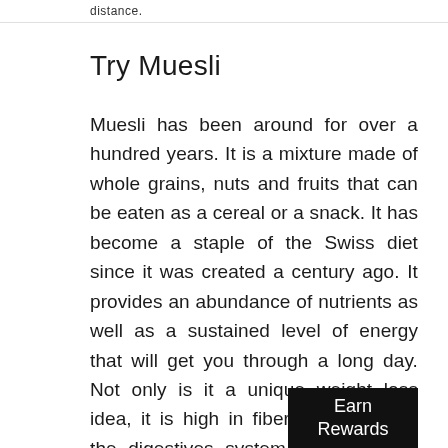distance.
Try Muesli
Muesli has been around for over a hundred years. It is a mixture made of whole grains, nuts and fruits that can be eaten as a cereal or a snack. It has become a staple of the Swiss diet since it was created a century ago. It provides an abundance of nutrients as well as a sustained level of energy that will get you through a long day. Not only is it a unique weight loss idea, it is high in fiber and will keep the digestives system functioning at its best.
Earn Rewards